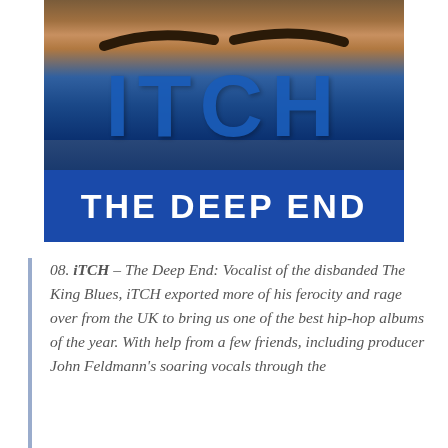[Figure (photo): Album cover for iTCH – The Deep End. Close-up of a person's face with intense eyes and bold eyebrows against a blue background. Large blue bold text 'ITCH' overlaid on the face, and a blue banner at the bottom reading 'THE DEEP END' in white uppercase letters.]
08. iTCH – The Deep End: Vocalist of the disbanded The King Blues, iTCH exported more of his ferocity and rage over from the UK to bring us one of the best hip-hop albums of the year. With help from a few friends, including producer John Feldmann's soaring vocals through the